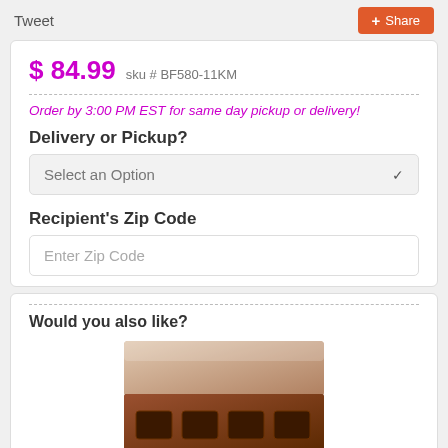Tweet
Share
$ 84.99   sku # BF580-11KM
Order by 3:00 PM EST for same day pickup or delivery!
Delivery or Pickup?
Select an Option
Recipient's Zip Code
Enter Zip Code
Would you also like?
[Figure (photo): A box of chocolates product photo]